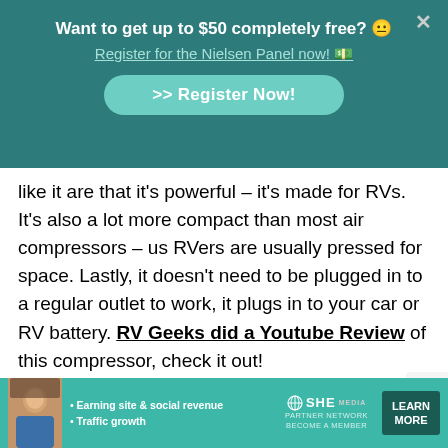[Figure (screenshot): Teal popup banner with text 'Want to get up to $50 completely free? 😐 Register for the Nielsen Panel now! 💵' and a '>> Register Now!' button with a close X button in top right corner]
like it are that it's powerful – it's made for RVs. It's also a lot more compact than most air compressors – us RVers are usually pressed for space. Lastly, it doesn't need to be plugged in to a regular outlet to work, it plugs in to your car or RV battery. RV Geeks did a Youtube Review of this compressor, check it out!
[Figure (screenshot): Bottom advertisement banner for SHE Partner Network in teal color with a woman's photo, bullet points 'Earning site & social revenue' and 'Traffic growth', SHE logo with globe icon, 'PARTNER NETWORK BECOME A MEMBER' subtext, and 'LEARN MORE' button]